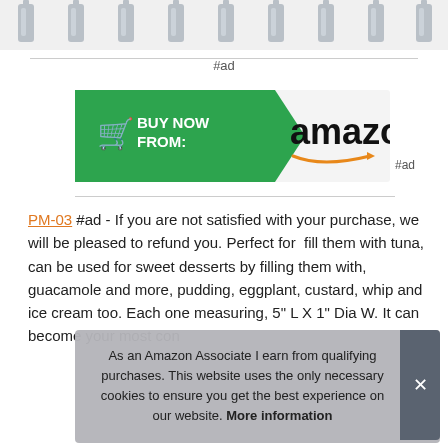[Figure (photo): Row of metallic/silver product items (tubes or dispensers) shown as thumbnail images at the top of the page]
#ad
[Figure (other): Amazon 'Buy Now From: Amazon' button — green arrow shape on left with shopping cart icon and 'BUY NOW FROM:' text, white panel on right with Amazon logo and orange smile arrow]
#ad
PM-03 #ad - If you are not satisfied with your purchase, we will be pleased to refund you. Perfect for  fill them with tuna, can be used for sweet desserts by filling them with, guacamole and more, pudding, eggplant, custard, whip and ice cream too. Each one measuring, 5" L X 1" Dia W. It can become your most con[venient] mai[n] with past fillin[g]
As an Amazon Associate I earn from qualifying purchases. This website uses the only necessary cookies to ensure you get the best experience on our website. More information